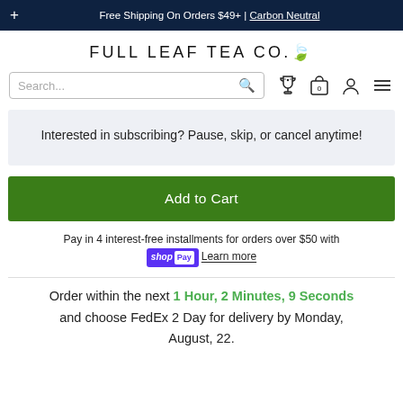Free Shipping On Orders $49+ | Carbon Neutral
FULL LEAF TEA CO.
Interested in subscribing? Pause, skip, or cancel anytime!
Add to Cart
Pay in 4 interest-free installments for orders over $50 with shopPay Learn more
Order within the next 1 Hour, 2 Minutes, 9 Seconds and choose FedEx 2 Day for delivery by Monday, August, 22.